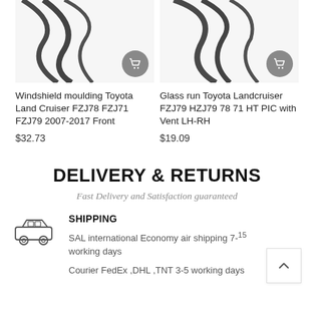[Figure (photo): Windshield moulding rubber seal product photo, top portion cropped, with shopping cart button overlay]
[Figure (photo): Glass run rubber seal product photo, top portion cropped, with shopping cart button overlay]
Windshield moulding Toyota Land Cruiser FZJ78 FZJ71 FZJ79 2007-2017 Front
$32.73
Glass run Toyota Landcruiser FZJ79 HZJ79 78 71 HT PIC with Vent LH-RH
$19.09
DELIVERY & RETURNS
Fast Delivery and Satisfaction guaranteed
[Figure (illustration): Simple line-art car/truck icon representing shipping]
SHIPPING
SAL international Economy air shipping 7-15 working days
Courier FedEx ,DHL ,TNT 3-5 working days